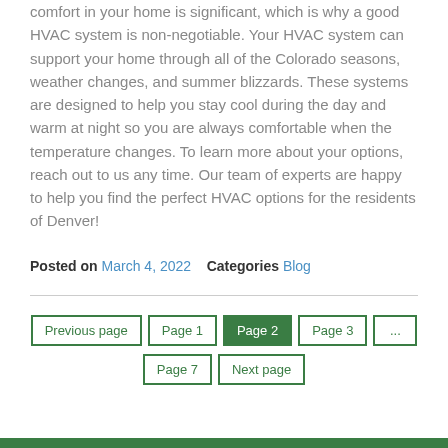comfort in your home is significant, which is why a good HVAC system is non-negotiable. Your HVAC system can support your home through all of the Colorado seasons, weather changes, and summer blizzards. These systems are designed to help you stay cool during the day and warm at night so you are always comfortable when the temperature changes. To learn more about your options, reach out to us any time. Our team of experts are happy to help you find the perfect HVAC options for the residents of Denver!
Posted on March 4, 2022    Categories Blog
Previous page | Page 1 | Page 2 | Page 3 | ... | Page 7 | Next page